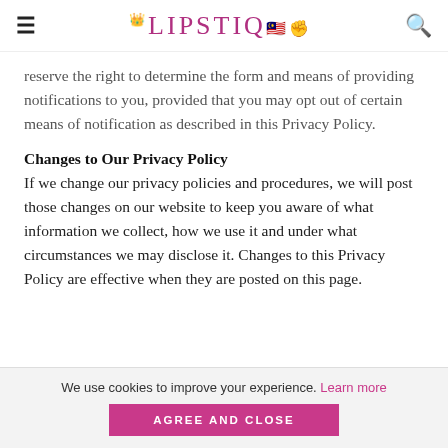LIPSTIQ
reserve the right to determine the form and means of providing notifications to you, provided that you may opt out of certain means of notification as described in this Privacy Policy.
Changes to Our Privacy Policy
If we change our privacy policies and procedures, we will post those changes on our website to keep you aware of what information we collect, how we use it and under what circumstances we may disclose it. Changes to this Privacy Policy are effective when they are posted on this page.
We use cookies to improve your experience. Learn more AGREE AND CLOSE